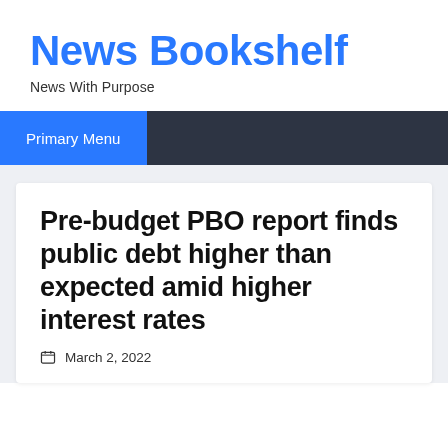News Bookshelf
News With Purpose
Primary Menu
Pre-budget PBO report finds public debt higher than expected amid higher interest rates
March 2, 2022